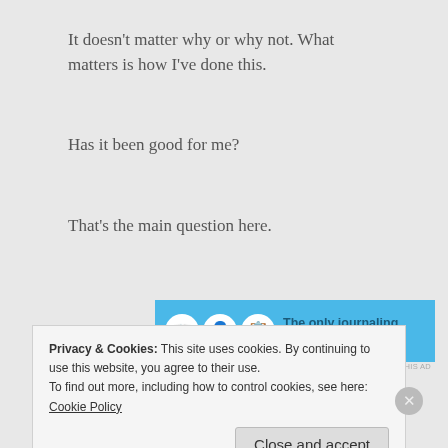It doesn’t matter why or why not. What matters is how I’ve done this.
Has it been good for me?
That’s the main question here.
[Figure (other): Advertisement banner: blue background with icons (book, person, notebook) and text 'The only journaling app you'll ever need.']
Privacy & Cookies: This site uses cookies. By continuing to use this website, you agree to their use.
To find out more, including how to control cookies, see here: Cookie Policy
Close and accept